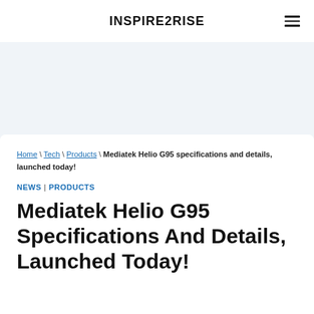INSPIRE2RISE
[Figure (other): Light blue/gray advertisement banner area]
Home \ Tech \ Products \ Mediatek Helio G95 specifications and details, launched today!
NEWS | PRODUCTS
Mediatek Helio G95 Specifications And Details, Launched Today!